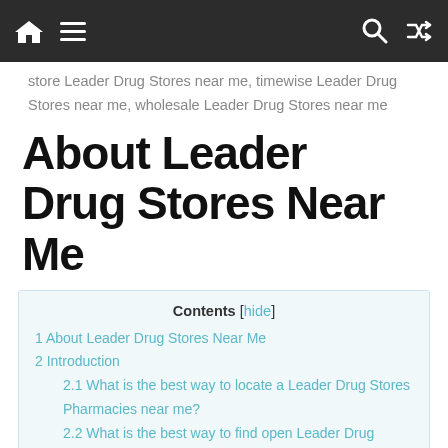Navigation bar with home, menu, search, and shuffle icons
store Leader Drug Stores near me, timewise Leader Drug Stores near me, wholesale Leader Drug Stores near me
About Leader Drug Stores Near Me
Contents [hide]
1 About Leader Drug Stores Near Me
2 Introduction
2.1 What is the best way to locate a Leader Drug Stores Pharmacies near me?
2.2 What is the best way to find open Leader Drug Stores Pharmacies near me?
2.3 Some Frequently Asked Questions (FAQ) about Leader Drug Stores Pharmacies: